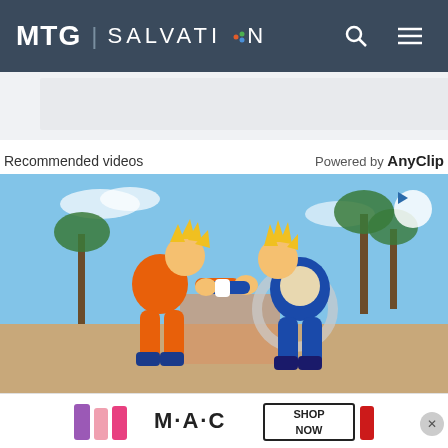MTG | SALVATION
Recommended videos
Powered by AnyClip
[Figure (screenshot): Video thumbnail showing two Dragon Ball Z anime characters (Goku in orange gi and Vegeta in blue armor) fighting each other in a video game scene with palm trees and blue sky background. A circular play button is visible in the top right of the thumbnail.]
[Figure (photo): M·A·C cosmetics advertisement banner showing colorful lipsticks with 'SHOP NOW' button]